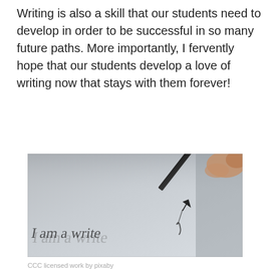Writing is also a skill that our students need to develop in order to be successful in so many future paths. More importantly, I fervently hope that our students develop a love of writing now that stays with them forever!
[Figure (photo): Close-up photograph of a hand holding a pen writing 'I am a writer' in cursive on white paper. The image is in dark, moody tones with the pen visible at the upper right.]
CCC licensed work by pixaby